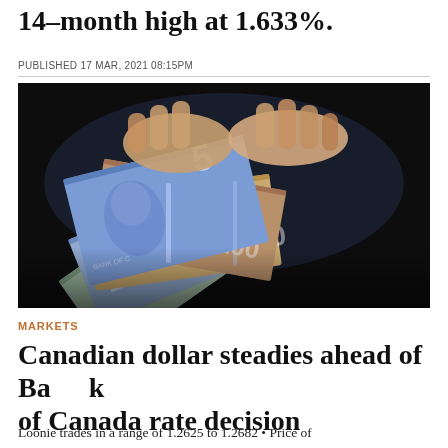14-month high at 1.633%.
PUBLISHED 17 MAR, 2021 08:15PM
[Figure (photo): Hands holding a fan of Canadian dollar banknotes including $5, $10, $20, $50, and $100 bills against a dark background]
MARKETS
Canadian dollar steadies ahead of Bank of Canada rate decision
Loonie trades in a range of 1.2625 to 1.2682 • Price of